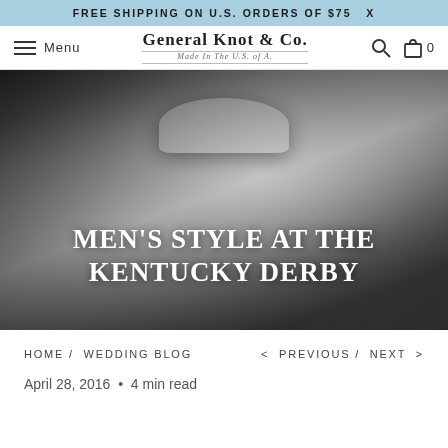FREE SHIPPING ON U.S. ORDERS OF $75 X
Menu | General Knot & Co. Made In The U.S. of A. | Search | Cart 0
[Figure (photo): Black and white vintage photograph of a smiling man wearing a fedora hat and suit at what appears to be a racing event, with text overlay reading MEN'S STYLE AT THE KENTUCKY DERBY]
HOME / WEDDING BLOG
< PREVIOUS / NEXT >
April 28, 2016 • 4 min read